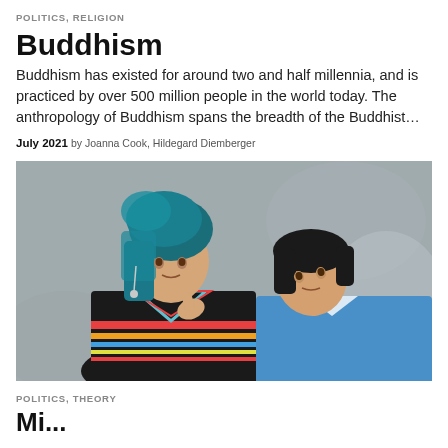POLITICS, RELIGION
Buddhism
Buddhism has existed for around two and half millennia, and is practiced by over 500 million people in the world today. The anthropology of Buddhism spans the breadth of the Buddhist...
July 2021 by Joanna Cook, Hildegard Diemberger
[Figure (photo): Two young women in traditional colorful embroidered clothing leaning against a stone wall. The woman on the left wears a teal/blue headwrap and decorative jewelry; the woman on the right wears a light blue jacket and leans her head on the first woman's shoulder.]
POLITICS, THEORY
Mi...